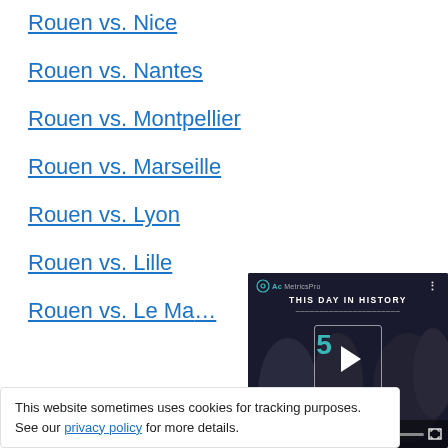Rouen vs. Nice
Rouen vs. Nantes
Rouen vs. Montpellier
Rouen vs. Marseille
Rouen vs. Lyon
Rouen vs. Lille
Rouen vs. Le Mans
This website sometimes uses cookies for tracking purposes. See our privacy policy for more details.
[Figure (screenshot): Video overlay showing 'This Day In History' from AcMetricsPro with a play button, blue number 5, August label, and video controls]